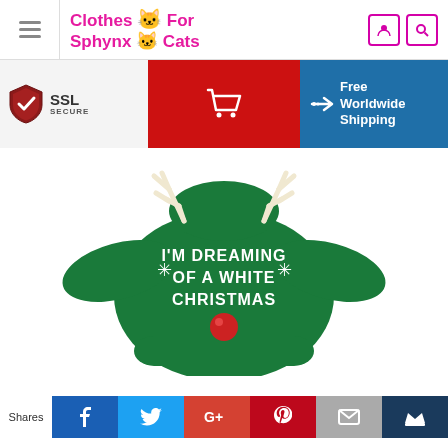Clothes For Sphynx Cats
[Figure (logo): SSL Secure badge with shield icon]
[Figure (infographic): Red cart button and blue Free Worldwide Shipping banner]
[Figure (photo): Green Christmas cat sweater with reindeer antlers and text I'M DREAMING OF A WHITE CHRISTMAS with red nose]
Shares
[Figure (infographic): Social share buttons: Facebook, Twitter, Google+, Pinterest, Email, Crown]